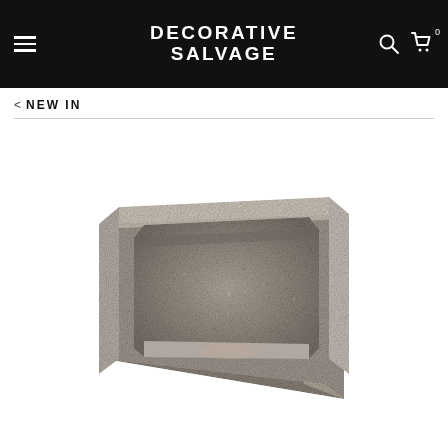DECORATIVE SALVAGE
< NEW IN
[Figure (photo): A rectangular stone trough or planter, made of rough-textured granite, viewed from a three-quarter angle showing the hollow interior. The stone is grey-brown in color with a thick rim.]